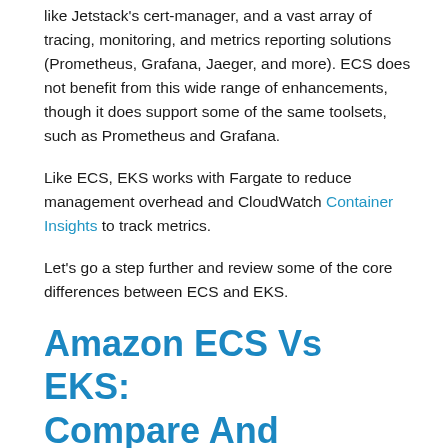like Jetstack's cert-manager, and a vast array of tracing, monitoring, and metrics reporting solutions (Prometheus, Grafana, Jaeger, and more). ECS does not benefit from this wide range of enhancements, though it does support some of the same toolsets, such as Prometheus and Grafana.
Like ECS, EKS works with Fargate to reduce management overhead and CloudWatch Container Insights to track metrics.
Let's go a step further and review some of the core differences between ECS and EKS.
Amazon ECS Vs EKS: Compare And Contrast
Pricing